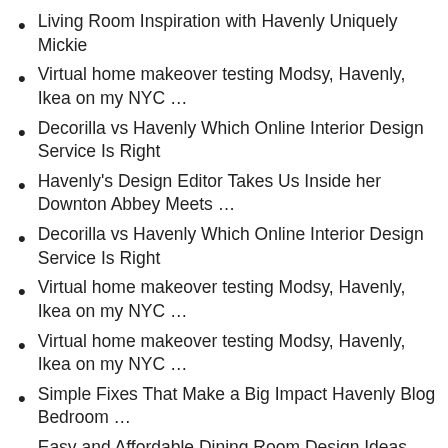Living Room Inspiration with Havenly Uniquely Mickie
Virtual home makeover testing Modsy, Havenly, Ikea on my NYC …
Decorilla vs Havenly Which Online Interior Design Service Is Right
Havenly's Design Editor Takes Us Inside her Downton Abbey Meets …
Decorilla vs Havenly Which Online Interior Design Service Is Right
Virtual home makeover testing Modsy, Havenly, Ikea on my NYC …
Virtual home makeover testing Modsy, Havenly, Ikea on my NYC …
Simple Fixes That Make a Big Impact Havenly Blog Bedroom …
Easy and Affordable Dining Room Design Ideas Clare
Easy and Affordable Dining Room Design Ideas Clare